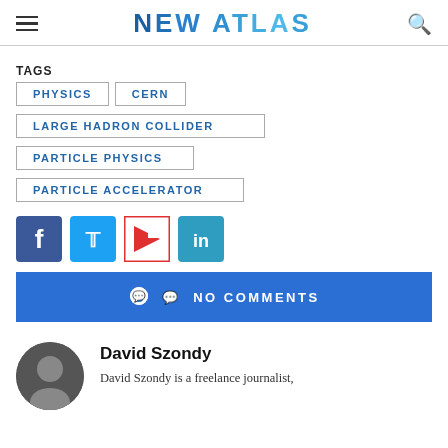NEW ATLAS
TAGS  PHYSICS  CERN  LARGE HADRON COLLIDER  PARTICLE PHYSICS  PARTICLE ACCELERATOR
[Figure (infographic): Social share buttons: Facebook (blue), Twitter (cyan), Flipboard (red/white), LinkedIn (teal)]
NO COMMENTS
David Szondy
David Szondy is a freelance journalist,